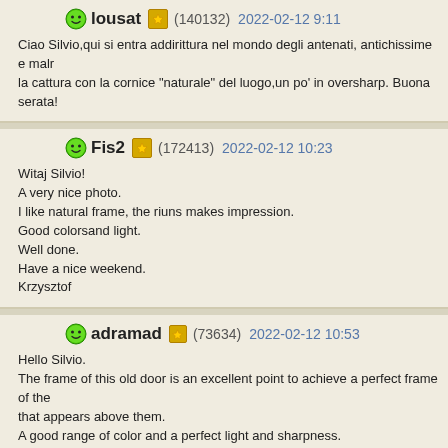lousat (140132) 2022-02-12 9:11
Ciao Silvio,qui si entra addirittura nel mondo degli antenati, antichissime e maln la cattura con la cornice "naturale" del luogo,un po' in oversharp. Buona serata!
Fis2 (172413) 2022-02-12 10:23
Witaj Silvio!
A very nice photo.
I like natural frame, the riuns makes impression.
Good colorsand light.
Well done.
Have a nice weekend.
Krzysztof
adramad (73634) 2022-02-12 10:53
Hello Silvio.
The frame of this old door is an excellent point to achieve a perfect frame of the that appears above them.
A good range of color and a perfect light and sharpness.
Very well done. I like it.
Have a great day.
Luis